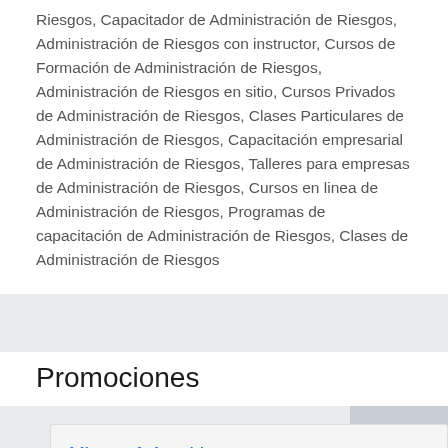Riesgos, Capacitador de Administración de Riesgos, Administración de Riesgos con instructor, Cursos de Formación de Administración de Riesgos, Administración de Riesgos en sitio, Cursos Privados de Administración de Riesgos, Clases Particulares de Administración de Riesgos, Capacitación empresarial de Administración de Riesgos, Talleres para empresas de Administración de Riesgos, Cursos en linea de Administración de Riesgos, Programas de capacitación de Administración de Riesgos, Clases de Administración de Riesgos
Promociones
Microsoft App-V: Implementación de la virtualización de escritorio